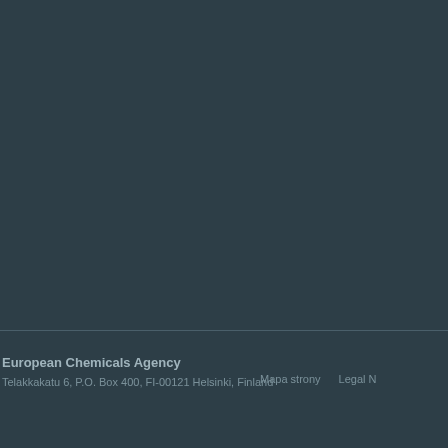European Chemicals Agency
Telakkakatu 6, P.O. Box 400, FI-00121 Helsinki, Finland
Mapa strony   Legal N
Mapa strony
Legal N